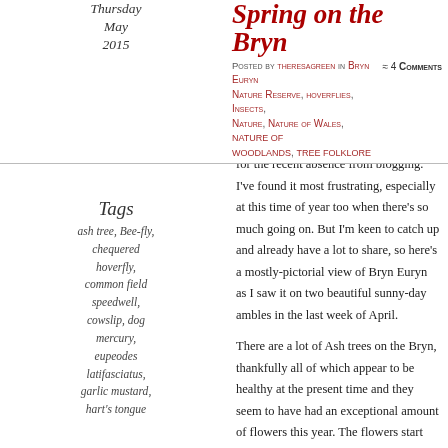Thursday May 2015
Spring on the Bryn
Posted by theresagreen in Bryn Euryn Nature Reserve, hoverflies, Insects, Nature, Nature of Wales, nature of woodlands, tree folklore ≈ 4 Comments
Tags
ash tree, Bee-fly, chequered hoverfly, common field speedwell, cowslip, dog mercury, eupeodes latifasciatus, garlic mustard, hart's tongue
Recent outings have been ambles rather than rambles as I'm getting back to fit after being laid low for a few weeks by some kind of virus, which also accounts for the recent absence from blogging. I've found it most frustrating, especially at this time of year too when there's so much going on. But I'm keen to catch up and already have a lot to share, so here's a mostly-pictorial view of Bryn Euryn as I saw it on two beautiful sunny-day ambles in the last week of April.
There are a lot of Ash trees on the Bryn, thankfully all of which appear to be healthy at the present time and they seem to have had an exceptional amount of flowers this year. The flowers start off a dark pinkish-